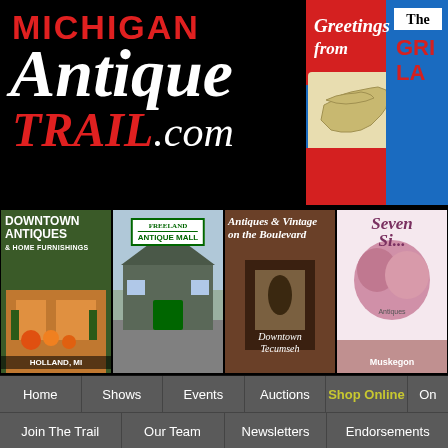Michigan Antique Trail .com
[Figure (illustration): Greetings from The Great Lakes postcard image with Michigan map outline, red and blue background]
[Figure (photo): Downtown Antiques & Home Furnishings - Holland, MI shop advertisement]
[Figure (photo): Freeland Antique Mall building exterior photo]
[Figure (photo): Antiques & Vintage on the Boulevard - Downtown Tecumseh shop advertisement]
[Figure (illustration): Seven Sisters Antiques - Muskegon shop advertisement]
Alabama  Arizona  Arkansas  Connecticut  Florida  Georgia  Maine  Massachusetts  Mississippi  Missouri  New Hampshire  Pennsylvania  Rhode Island  South Carolina  Tennessee  AntiqueTrail.com
Home
Shows
Events
Auctions
Shop Online
On
Join The Trail
Our Team
Newsletters
Endorsements